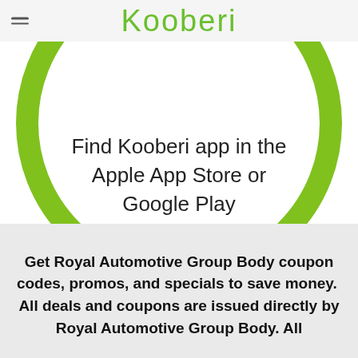Kooberi
[Figure (illustration): Large green circle outline with text inside reading 'Find Kooberi app in the Apple App Store or Google Play']
Get Royal Automotive Group Body coupon codes, promos, and specials to save money.  All deals and coupons are issued directly by Royal Automotive Group Body. All